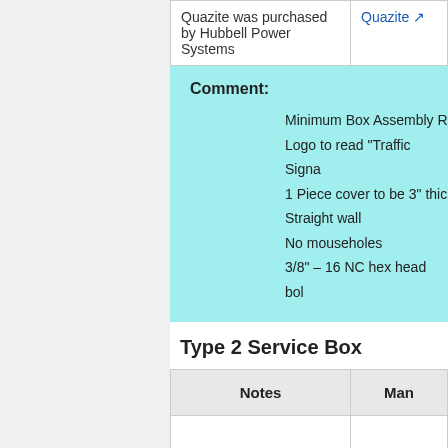| Notes | Man... |
| --- | --- |
| Quazite was purchased by Hubbell Power Systems | Quazite [link] |
Comment: Minimum Box Assembly R... Logo to read "Traffic Signa... 1 Piece cover to be 3" thic... Straight wall No mouseholes 3/8" – 16 NC hex head bol...
Type 2 Service Box
| Notes | Man... |
| --- | --- |
|  | Armorcas... |